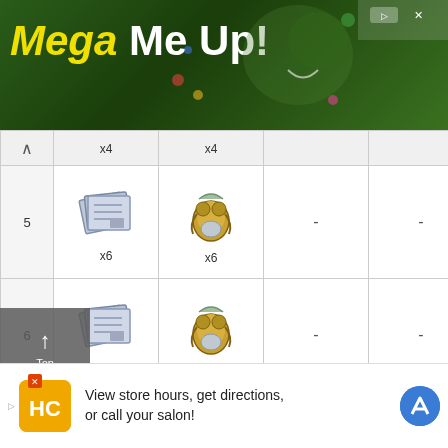[Figure (illustration): Mega Me Up! advertisement banner with green background, shark, and colorful elements. Text reads 'Mega Me Up!']
|  | col1 | col2 | col3 | col4 |
| --- | --- | --- | --- | --- |
|  | x4 | x4 |  |  |
| 5 | [item] x6 | [item] x6 | - | - |
| 6 | [item] x9 | [item] x9 | - | - |
| 7 | [item] x4 | [item] x4 | [item] x1 | - |
| 8 | [item] | [item] | [item] | - |
[Figure (screenshot): Bottom advertisement: 'View store hours, get directions, or call your salon!']